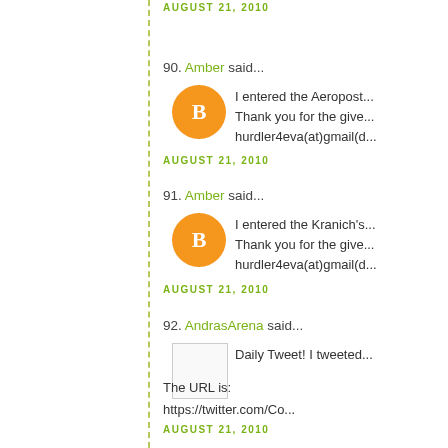AUGUST 21, 2010
90. Amber said...
I entered the Aeropost... Thank you for the give... hurdler4eva(at)gmail(...
AUGUST 21, 2010
91. Amber said...
I entered the Kranich's... Thank you for the give... hurdler4eva(at)gmail(...
AUGUST 21, 2010
92. AndrasArena said...
Daily Tweet! I tweeted...
The URL is:
https://twitter.com/Co...
AUGUST 21, 2010